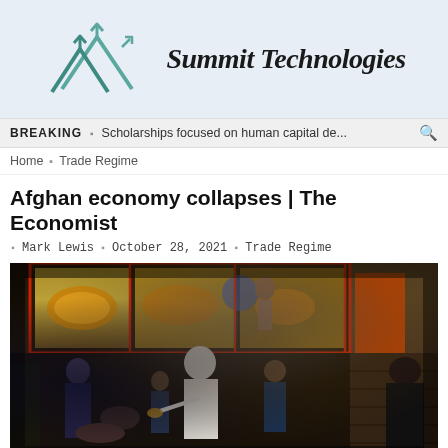[Figure (logo): Summit Technologies logo with teal/blue upward arrow triangles and company name in italic handwritten font]
BREAKING  Scholarships focused on human capital de...
Home  Trade Regime
Afghan economy collapses | The Economist
Mark Lewis  October 28, 2021  Trade Regime
[Figure (photo): A woman in white hijab distributes bread to children and people outside a bakery with glass display windows showing bread loaves, brick wall backdrop, night scene]